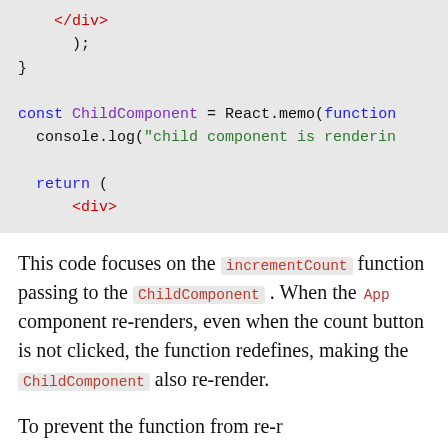[Figure (screenshot): Code block showing JavaScript: closing div tag, closing parenthesis and curly brace, then const ChildComponent = React.memo(function..., console.log("child component is rendering..."), return (, <div>]
This code focuses on the incrementCount function passing to the ChildComponent . When the App component re-renders, even when the count button is not clicked, the function redefines, making the ChildComponent also re-render.
To prevent the function from re-r...